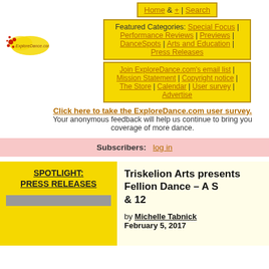Home & + | Search
Featured Categories: Special Focus | Performance Reviews | Previews | DanceSpots | Arts and Education | Press Releases
Join ExploreDance.com's email list | Mission Statement | Copyright notice | The Store | Calendar | User survey | Advertise
[Figure (logo): ExploreDance.com logo with red and yellow splash design]
Click here to take the ExploreDance.com user survey. Your anonymous feedback will help us continue to bring you coverage of more dance.
Subscribers: log in
SPOTLIGHT: PRESS RELEASES
Triskelion Arts presents Fellion Dance – A S... & 12
by Michelle Tabnick
February 5, 2017